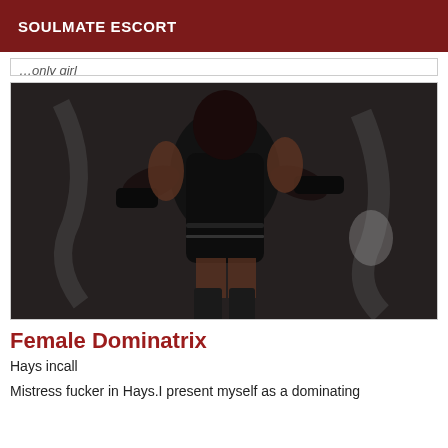SOULMATE ESCORT
…only girl
[Figure (photo): A woman in a black leather dominatrix outfit with gloves, corset, and thigh-high boots, posing in front of a graffiti wall.]
Female Dominatrix
Hays incall
Mistress fucker in Hays.I present myself as a dominating